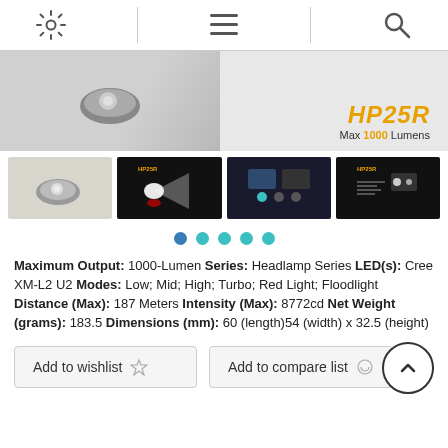Navigation bar with settings, menu, and search icons
[Figure (photo): HP25R headlamp product hero image with model name and max 1000 lumens badge]
[Figure (photo): Four product thumbnail images: headlamp front view, beam shot, features overview, spec sheet]
[Figure (infographic): Five navigation dots indicating image carousel position; first dot in blue, remaining four in teal]
Maximum Output: 1000-Lumen Series: Headlamp Series LED(s): Cree XM-L2 U2 Modes: Low; Mid; High; Turbo; Red Light; Floodlight Distance (Max): 187 Meters Intensity (Max): 8772cd Net Weight (grams): 183.5 Dimensions (mm): 60 (length)54 (width) x 32.5 (height)
Add to wishlist  Add to compare list